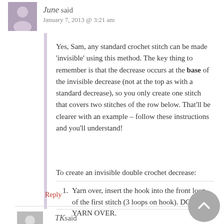June said — January 7, 2013 @ 3:21 am
Yes, Sam, any standard crochet stitch can be made 'invisible' using this method. The key thing to remember is that the decrease occurs at the base of the invisible decrease (not at the top as with a standard decrease), so you only create one stitch that covers two stitches of the row below. That'll be clearer with an example – follow these instructions and you'll understand!
To create an invisible double crochet decrease:
Yarn over, insert the hook into the front loop of the first stitch (3 loops on hook). DO NOT YARN OVER.
Insert the hook into the front loop of the next stitch. To do this, you
Reply
TK said — September 24, 2016 @ 8:10 am